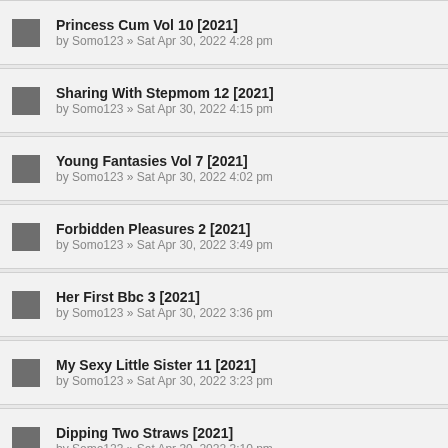Princess Cum Vol 10 [2021]
by Somo123 » Sat Apr 30, 2022 4:28 pm
Sharing With Stepmom 12 [2021]
by Somo123 » Sat Apr 30, 2022 4:15 pm
Young Fantasies Vol 7 [2021]
by Somo123 » Sat Apr 30, 2022 4:02 pm
Forbidden Pleasures 2 [2021]
by Somo123 » Sat Apr 30, 2022 3:49 pm
Her First Bbc 3 [2021]
by Somo123 » Sat Apr 30, 2022 3:36 pm
My Sexy Little Sister 11 [2021]
by Somo123 » Sat Apr 30, 2022 3:23 pm
Dipping Two Straws [2021]
by Somo123 » Sat Apr 30, 2022 3:10 pm
Mature Anal
by Somo123 » Sat Apr 30, 2022 2:57 pm